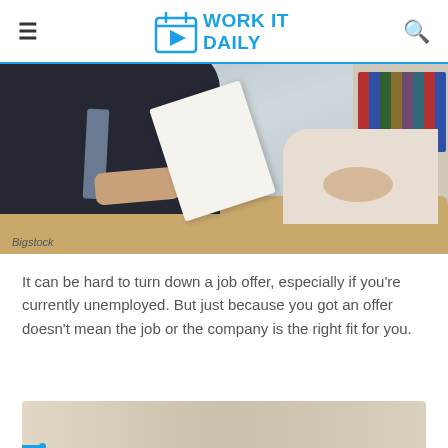WORK IT DAILY
[Figure (photo): A job interview scene: a person in a dark suit holds documents across a desk toward another person in a light-colored top, with bookshelves visible in the background.]
Bigstock
It can be hard to turn down a job offer, especially if you're currently unemployed. But just because you got an offer doesn't mean the job or the company is the right fit for you.
[Figure (photo): Bottom portion of a video thumbnail showing a scene, with a playback progress bar at the bottom.]